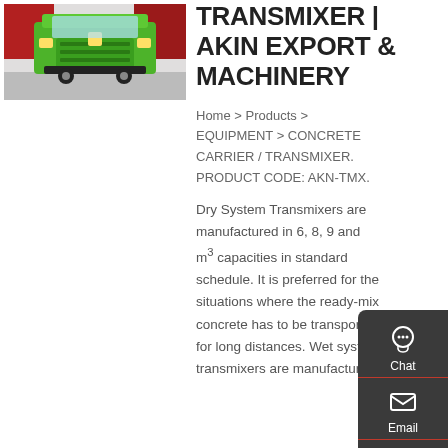[Figure (photo): Front view of a green concrete transmixer truck in a factory/showroom setting]
TRANSMIXER | AKIN EXPORT & MACHINERY
Home > Products > EQUIPMENT > CONCRETE CARRIER / TRANSMIXER. PRODUCT CODE: AKN-TMX.
Dry System Transmixers are manufactured in 6, 8, 9 and m³ capacities in standard schedule. It is preferred for the situations where the ready-mix concrete has to be transported for long distances. Wet system transmixers are manufactured in
[Figure (infographic): Sidebar widget with Chat, Email, Contact, and Top buttons on dark background]